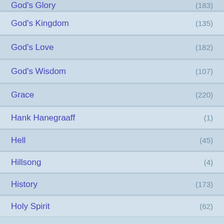God's Glory (183)
God's Kingdom (135)
God's Love (182)
God's Wisdom (107)
Grace (220)
Hank Hanegraaff (1)
Hell (45)
Hillsong (4)
History (173)
Holy Spirit (62)